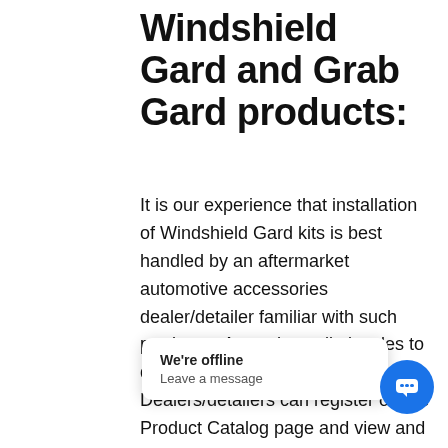Windshield Gard and Grab Gard products:
It is our experience that installation of Windshield Gard kits is best handled by an aftermarket automotive accessories dealer/detailer familiar with such products.  As such, we limit sales to dealer/detailers only. Dealers/detailers can register on the Product Catalog page and view and purchase the Windshield Gard kits. If you are currently installing tint film, paint protection film, or are already installing windshield protection film rolls, this would be a great addition to your shop! With the ease of kits installation, you can easily